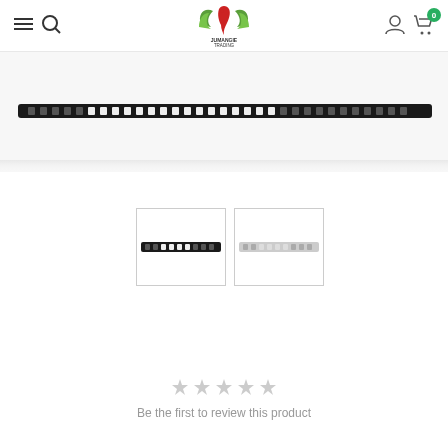[Figure (logo): Jumangie Trading logo with green dragon/phoenix wings and red dragon figure]
[Figure (photo): Close-up top edge of a black/dark LED strip or chain product against white background]
[Figure (photo): Thumbnail 1: black LED strip chain product]
[Figure (photo): Thumbnail 2: silver/white LED strip chain product]
Be the first to review this product